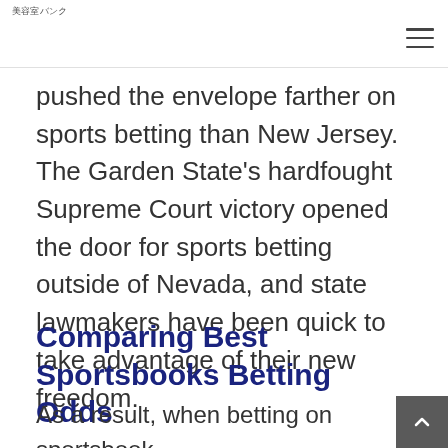美容室バンク
pushed the envelope farther on sports betting than New Jersey. The Garden State's hardfought Supreme Court victory opened the door for sports betting outside of Nevada, and state lawmakers have been quick to take advantage of their new freedom.
Comparing Best Sportsbooks Betting Odds
As a result, when betting on sportsbooks like DraftKings and Air Bet, you can take the best lines available.